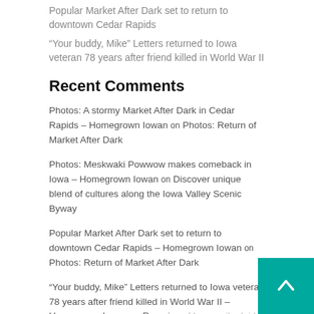Popular Market After Dark set to return to downtown Cedar Rapids
“Your buddy, Mike” Letters returned to Iowa veteran 78 years after friend killed in World War II
Recent Comments
Photos: A stormy Market After Dark in Cedar Rapids – Homegrown Iowan on Photos: Return of Market After Dark
Photos: Meskwaki Powwow makes comeback in Iowa – Homegrown Iowan on Discover unique blend of cultures along the Iowa Valley Scenic Byway
Popular Market After Dark set to return to downtown Cedar Rapids – Homegrown Iowan on Photos: Return of Market After Dark
“Your buddy, Mike” Letters returned to Iowa veteran 78 years after friend killed in World War II – Homegrown Iowan on Remains of Iowa sailor laid to rest nearly 78 years after death at Pearl H…
“Your buddy, Mike” Letters returned to Iowa veteran 78 years after